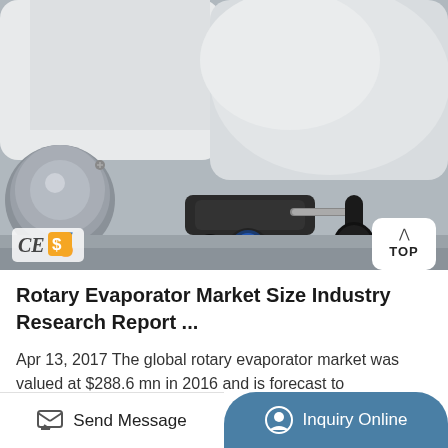[Figure (photo): Close-up photo of a rotary evaporator mechanical component showing white housing, black adjustment knob with blue button, black lever handle, and metallic parts. CE certification badge and dollar icon visible in lower left. 'TOP' navigation button in lower right corner.]
Rotary Evaporator Market Size Industry Research Report ...
Apr 13, 2017 The global rotary evaporator market was valued at $288.6 mn in 2016 and is forecast to
Send Message
Inquiry Online